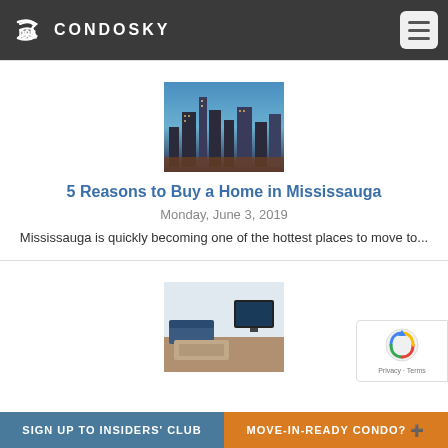CONDOSKY
[Figure (photo): City skyline photo with blue sky and buildings at dusk]
5 Reasons to Buy a Home in Mississauga
Monday, June 3, 2019
Mississauga is quickly becoming one of the hottest places to move to...
[Figure (photo): Interior living room photo with white walls, sofa and TV]
SIGN UP TO INSIDERS' CLUB | MOVE-IN-READY CONDO?